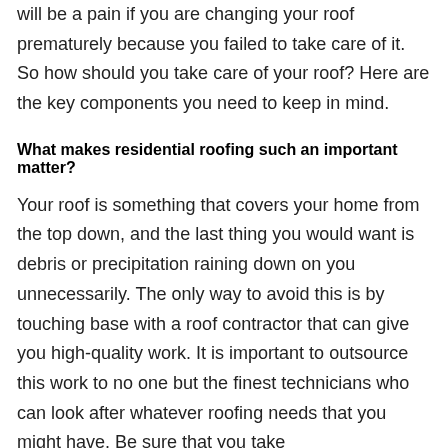will be a pain if you are changing your roof prematurely because you failed to take care of it. So how should you take care of your roof? Here are the key components you need to keep in mind.
What makes residential roofing such an important matter?
Your roof is something that covers your home from the top down, and the last thing you would want is debris or precipitation raining down on you unnecessarily. The only way to avoid this is by touching base with a roof contractor that can give you high-quality work. It is important to outsource this work to no one but the finest technicians who can look after whatever roofing needs that you might have. Be sure that you take